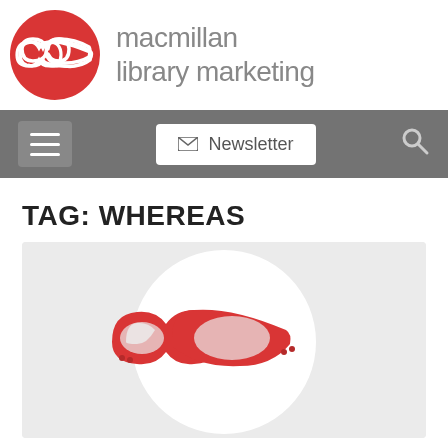[Figure (logo): Macmillan Library Marketing logo: red circle with white cat-eye glasses icon, beside site name 'macmillan library marketing' in grey sans-serif]
[Figure (screenshot): Navigation bar with hamburger menu button, Newsletter button with envelope icon, and search icon on grey background]
TAG: WHEREAS
[Figure (illustration): Light grey article thumbnail showing a large white circle with red cat-eye glasses illustration in the center]